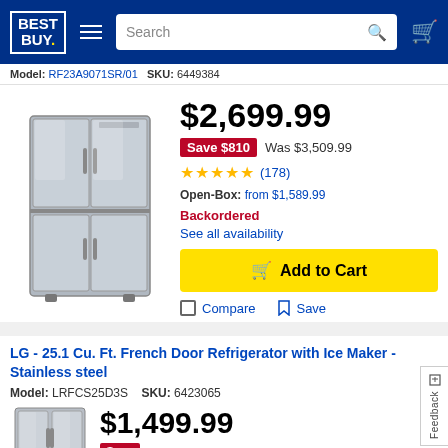[Figure (screenshot): Best Buy website header with logo, hamburger menu, search bar, and cart icon on blue background]
Model: RF23A9071SR/01   SKU: 6449384
[Figure (photo): Samsung stainless steel 4-door French door refrigerator product image]
$2,699.99
Save $810  Was $3,509.99
★★★★★ (178)
Open-Box: from $1,589.99
Backordered
See all availability
Add to Cart
Compare   Save
LG - 25.1 Cu. Ft. French Door Refrigerator with Ice Maker - Stainless steel
Model: LRFCS25D3S   SKU: 6423065
[Figure (photo): LG stainless steel French door refrigerator product image (partial)]
$1,499.99